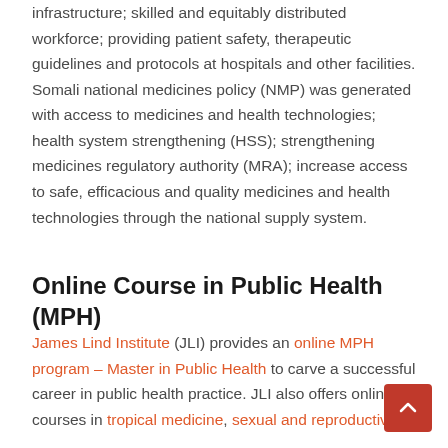infrastructure; skilled and equitably distributed workforce; providing patient safety, therapeutic guidelines and protocols at hospitals and other facilities. Somali national medicines policy (NMP) was generated with access to medicines and health technologies; health system strengthening (HSS); strengthening medicines regulatory authority (MRA); increase access to safe, efficacious and quality medicines and health technologies through the national supply system.
Online Course in Public Health (MPH)
James Lind Institute (JLI) provides an online MPH program – Master in Public Health to carve a successful career in public health practice. JLI also offers online courses in tropical medicine, sexual and reproductive